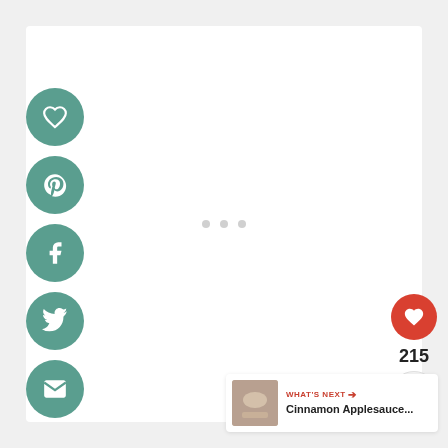[Figure (screenshot): White content area with social sharing sidebar buttons (heart/save, Pinterest, Facebook, Twitter, email) in teal circles on the left. Right side has a red heart button with count 215 and a share button. Bottom right has a 'What's Next' card showing Cinnamon Applesauce... with a food photo.]
215
WHAT'S NEXT → Cinnamon Applesauce...